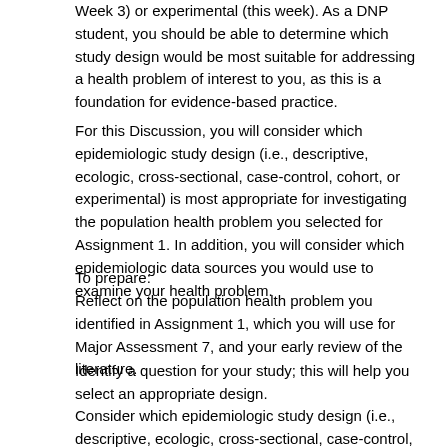Week 3) or experimental (this week). As a DNP student, you should be able to determine which study design would be most suitable for addressing a health problem of interest to you, as this is a foundation for evidence-based practice.
For this Discussion, you will consider which epidemiologic study design (i.e., descriptive, ecologic, cross-sectional, case-control, cohort, or experimental) is most appropriate for investigating the population health problem you selected for Assignment 1. In addition, you will consider which epidemiologic data sources you would use to examine your health problem.
To prepare:
Reflect on the population health problem you identified in Assignment 1, which you will use for Major Assessment 7, and your early review of the literature.
Identify a question for your study; this will help you select an appropriate design.
Consider which epidemiologic study design (i.e., descriptive, ecologic, cross-sectional, case-control, cohort, or experimental) is most appropriate for addressing your selected health problem based upon the assumptions and basic tenets of each design.
Determine which epidemiological design(s) would not be